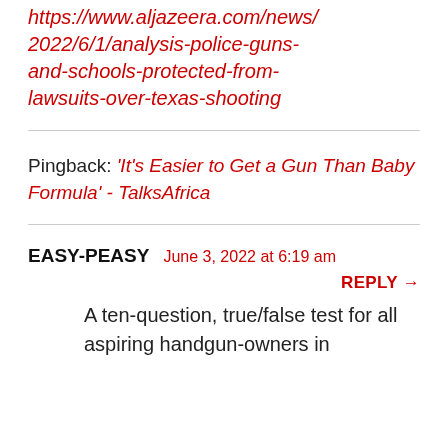https://www.aljazeera.com/news/2022/6/1/analysis-police-guns-and-schools-protected-from-lawsuits-over-texas-shooting
Pingback: 'It's Easier to Get a Gun Than Baby Formula' - TalksAfrica
EASY-PEASY  June 3, 2022 at 6:19 am
REPLY →
A ten-question, true/false test for all aspiring handgun-owners in